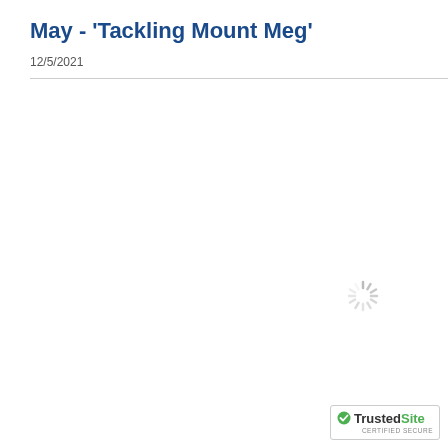May - 'Tackling Mount Meg'
12/5/2021
[Figure (other): Loading spinner icon (animated spinner graphic) in the center-right area of the page]
[Figure (logo): TrustedSite Certified Secure badge in the bottom-right corner]